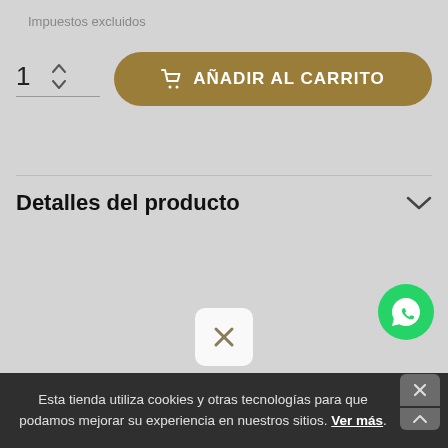Impuestos excluidos
[Figure (screenshot): E-commerce product page section showing quantity selector with value 1 and up/down arrows, and a gold rounded 'AÑADIR AL CARRITO' (Add to Cart) button with shopping cart icon]
Detalles del producto
[Figure (screenshot): Close/dismiss button — white rounded square with an X mark]
[Figure (screenshot): WhatsApp floating button — green circle with WhatsApp phone icon]
Esta tienda utiliza cookies y otras tecnologías para que podamos mejorar su experiencia en nuestros sitios. Ver más.